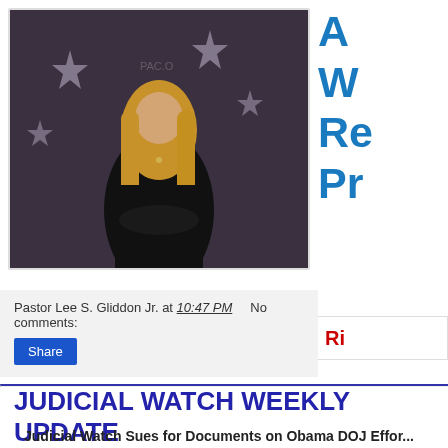[Figure (photo): Woman with long blonde hair wearing a black outfit, standing in front of a backdrop with stars, appears to be at a political/conservative event (CPAC)]
A...
W...
Re...
Pr...
R...
Pastor Lee S. Gliddon Jr. at 10:47 PM    No comments:
Share
JUDICIAL WATCH WEEKLY UPDATE 11/30/2018
Judicial Watch Sues for Documents on Obama DOJ Effor...
Foundation Investigation...